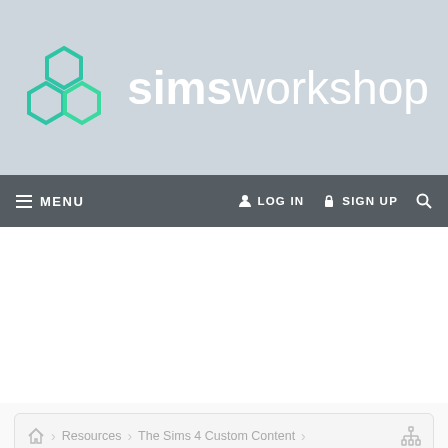[Figure (logo): simsworkshop logo with hexagon icon and text]
≡ MENU   LOG IN   SIGN UP   🔍
🏠 › Resources › The Sims 4 Custom Content  🗂